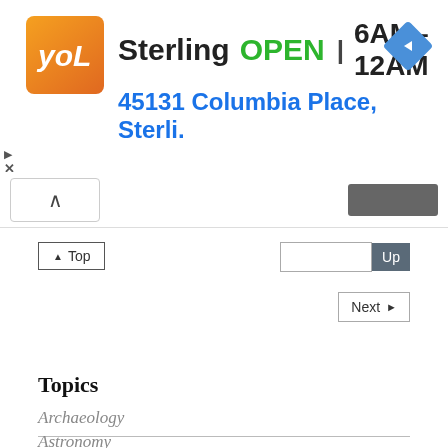[Figure (screenshot): Ad banner for Sterling showing logo, OPEN status, hours 6AM-12AM, and address 45131 Columbia Place, Sterli.]
Sterling  OPEN  6AM–12AM
45131 Columbia Place, Sterli.
▲ Top
Up
Next ▶
Topics
Archaeology
Astronomy
Esoterism